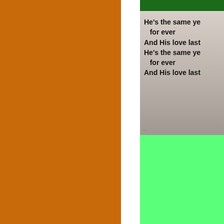[Figure (other): Large solid orange/burnt-orange rectangle filling the left portion of the page]
[Figure (photo): Screenshot of a video or image showing people dancing or moving, with bold text overlay reading: He's the same ye[sterday] for ever And His love last[s] He's the same ye[sterday] for ever And His love last[s]. Dark green bar at top of the panel. Lower portion is bright green.]